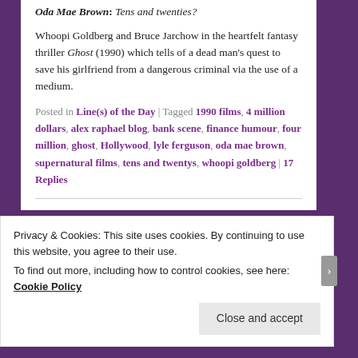Oda Mae Brown: Tens and twenties?
Whoopi Goldberg and Bruce Jarchow in the heartfelt fantasy thriller Ghost (1990) which tells of a dead man's quest to save his girlfriend from a dangerous criminal via the use of a medium.
Posted in Line(s) of the Day | Tagged 1990 films, 4 million dollars, alex raphael blog, bank scene, finance humour, four million, ghost, Hollywood, lyle ferguson, oda mae brown, supernatural films, tens and twentys, whoopi goldberg | 17 Replies
Privacy & Cookies: This site uses cookies. By continuing to use this website, you agree to their use. To find out more, including how to control cookies, see here: Cookie Policy
Close and accept